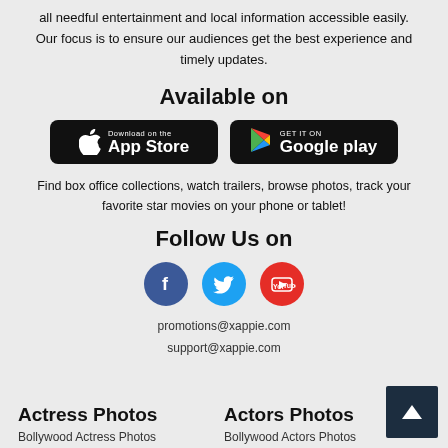Xappie (Xappie.TV) is a digital platform for Indians in India with all needful entertainment and local information accessible easily. Our focus is to ensure our audiences get the best experience and timely updates.
Available on
[Figure (logo): Download on the App Store button (black rounded rectangle with Apple logo)]
[Figure (logo): Get it on Google Play button (black rounded rectangle with Play Store logo)]
Find box office collections, watch trailers, browse photos, track your favorite star movies on your phone or tablet!
Follow Us on
[Figure (logo): Facebook, Twitter, and YouTube social media icon circles]
promotions@xappie.com
support@xappie.com
Actress Photos
Bollywood Actress Photos
Actors Photos
Bollywood Actors Photos